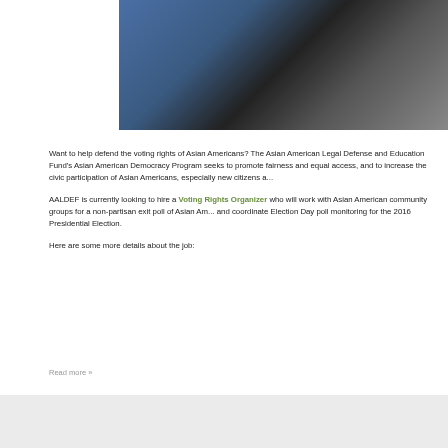[Figure (photo): People holding papers and documents outdoors, related to voter registration or civic engagement activity]
Want to help defend the voting rights of Asian Americans? The Asian American Legal Defense and Education Fund's Asian American Democracy Program seeks to promote fairness and equal access, and to increase the civic participation of Asian Americans, especially new citizens and...
AALDEF is currently looking to hire a Voting Rights Organizer who will work with Asian American community groups for a non-partisan exit poll of Asian Am... and coordinate Election Day poll monitoring for the 2016 Presidential Election.
Here are some more details about the job:
Read more »
FILE UNDER: aaldef, job, voting, voting rights